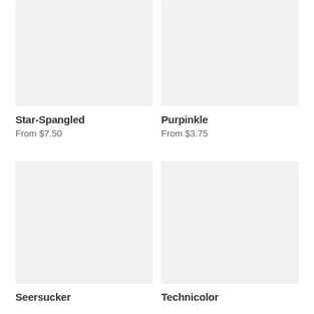[Figure (photo): Product image placeholder for Star-Spangled, light gray background]
Star-Spangled
From $7.50
[Figure (photo): Product image placeholder for Purpinkle, light gray background]
Purpinkle
From $3.75
[Figure (photo): Product image placeholder for Seersucker, light gray background]
Seersucker
[Figure (photo): Product image placeholder for Technicolor, light gray background]
Technicolor